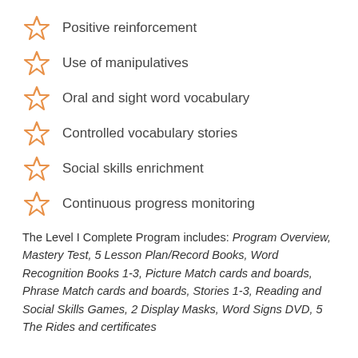Positive reinforcement
Use of manipulatives
Oral and sight word vocabulary
Controlled vocabulary stories
Social skills enrichment
Continuous progress monitoring
The Level I Complete Program includes: Program Overview, Mastery Test, 5 Lesson Plan/Record Books, Word Recognition Books 1-3, Picture Match cards and boards, Phrase Match cards and boards, Stories 1-3, Reading and Social Skills Games, 2 Display Masks, Word Signs DVD, 5 The Rides and certificates